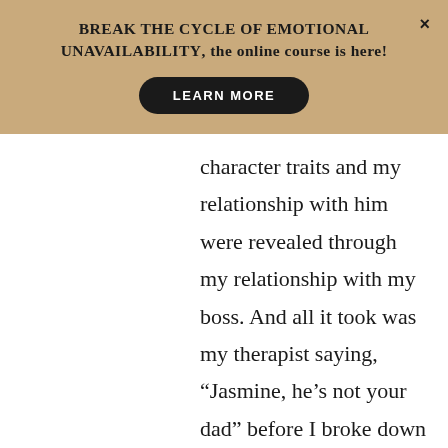BREAK THE CYCLE OF EMOTIONAL UNAVAILABILITY, the online course is here!
LEARN MORE
character traits and my relationship with him were revealed through my relationship with my boss. And all it took was my therapist saying, “Jasmine, he’s not your dad” before I broke down and cried uncontrollably. He wasn’t. Even if I was